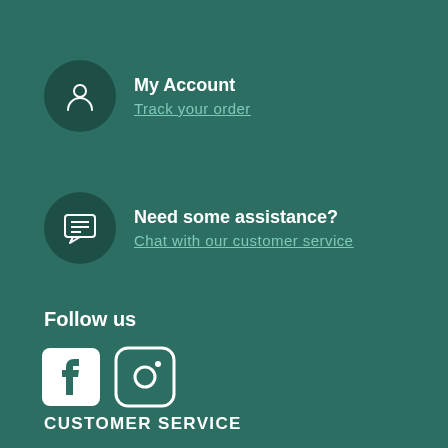My Account
Track your order
Need some assistance?
Chat with our customer service
Follow us
[Figure (illustration): Facebook and Instagram social media icons in white on teal background]
CUSTOMER SERVICE